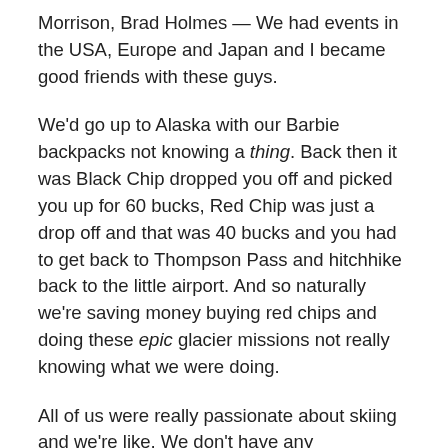Morrison, Brad Holmes — We had events in the USA, Europe and Japan and I became good friends with these guys.
We'd go up to Alaska with our Barbie backpacks not knowing a thing. Back then it was Black Chip dropped you off and picked you up for 60 bucks, Red Chip was just a drop off and that was 40 bucks and you had to get back to Thompson Pass and hitchhike back to the little airport. And so naturally we're saving money buying red chips and doing these epic glacier missions not really knowing what we were doing.
All of us were really passionate about skiing and we're like, We don't have any magazines, they're all about real estate, let's make one about fun. Kent [Kreitler] and Shane [McConkey] were a big influence on that, Brad [Holmes] came up with the name